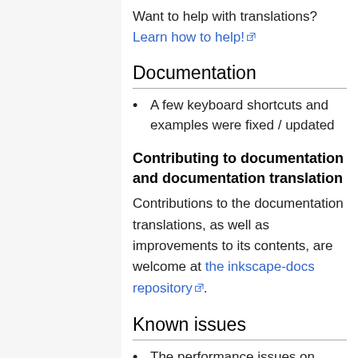Want to help with translations? Learn how to help!
Documentation
A few keyboard shortcuts and examples were fixed / updated
Contributing to documentation and documentation translation
Contributions to the documentation translations, as well as improvements to its contents, are welcome at the inkscape-docs repository.
Known issues
The performance issues on macOS persist.
Many of Inkscape's old bug reports